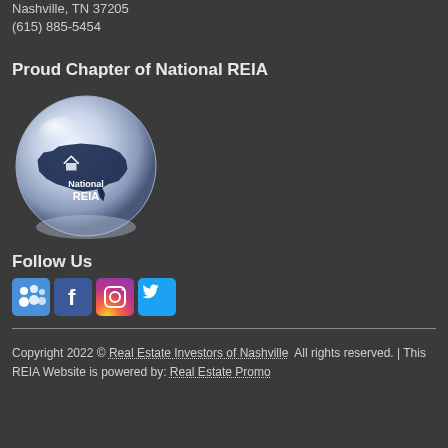Nashville, TN 37205
(615) 885-5454
Proud Chapter of National REIA
[Figure (logo): National REIA globe logo with US map silhouette on a glass sphere, text reads 'National REIA']
Follow Us
[Figure (illustration): Social media icons: Meetup (group of people), Facebook (f), Instagram (camera), Twitter (bird)]
Copyright 2022 © Real Estate Investors of Nashville  All rights reserved. | This REIA Website is powered by: Real Estate Promo